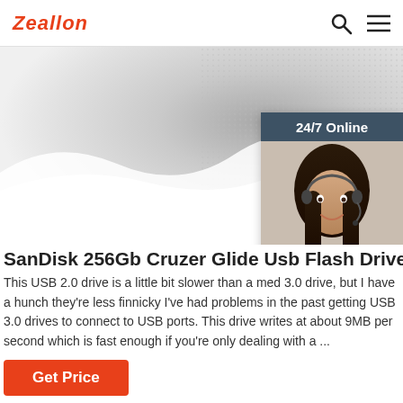Zeallon
[Figure (photo): Hero banner with abstract gray/white textured background, and a chat widget on the right showing a woman with a headset and '24/7 Online' header, 'Click here for free chat!' CTA, and orange QUOTATION button]
SanDisk 256Gb Cruzer Glide Usb Flash Drive
This USB 2.0 drive is a little bit slower than a med 3.0 drive, but I have a hunch they're less finnicky I've had problems in the past getting USB 3.0 drives to connect to USB ports. This drive writes at about 9MB per second which is fast enough if you're only dealing with a ...
Get Price